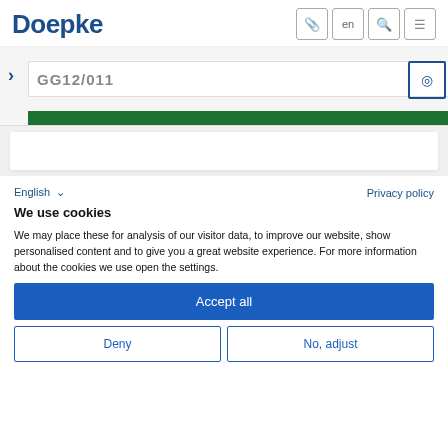Doepke
[Figure (screenshot): Partial website banner with navigation bar showing partial text, a green bottom bar, and a white card area below]
English  Privacy policy
We use cookies
We may place these for analysis of our visitor data, to improve our website, show personalised content and to give you a great website experience. For more information about the cookies we use open the settings.
Accept all
Deny   No, adjust